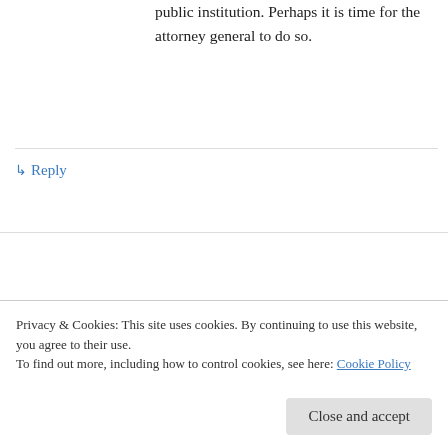public institution. Perhaps it is time for the attorney general to do so.
↳ Reply
Jerry Broussard on March 11, 2013 at 5:23 pm
Say what you want but it seems his predecessor was probably outed to make room for this jerk to have a deadhead job. That's all that "good government" L'il booby has been preaching about. LOL
Privacy & Cookies: This site uses cookies. By continuing to use this website, you agree to their use.
To find out more, including how to control cookies, see here: Cookie Policy
Close and accept